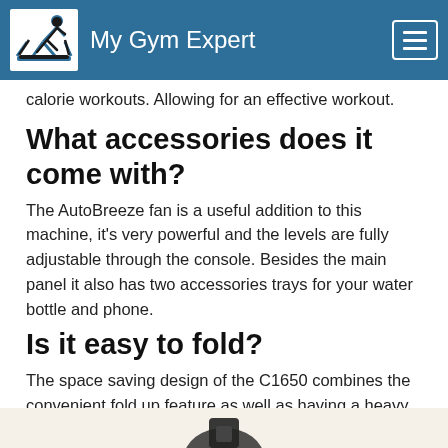My Gym Expert
calorie workouts. Allowing for an effective workout.
What accessories does it come with?
The AutoBreeze fan is a useful addition to this machine, it's very powerful and the levels are fully adjustable through the console. Besides the main panel it also has two accessories trays for your water bottle and phone.
Is it easy to fold?
The space saving design of the C1650 combines the convenient fold up feature as well as having a heavy and steady belt. Even though the belt is heavy they have added the EasyLift system which will do most of the lifting and lowering for you, enabling you to adjust the track from horizontal to vertical with easy no matter your strength.
[Figure (photo): Partial image of gym equipment at the bottom of the page]